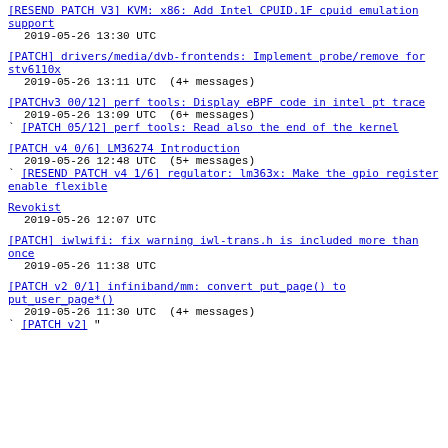[RESEND PATCH V3] KVM: x86: Add Intel CPUID.1F cpuid emulation support
  2019-05-26 13:30 UTC
[PATCH] drivers/media/dvb-frontends: Implement probe/remove for stv6110x
  2019-05-26 13:11 UTC  (4+ messages)
[PATCHv3 00/12] perf tools: Display eBPF code in intel pt trace
  2019-05-26 13:09 UTC  (6+ messages)
` [PATCH 05/12] perf tools: Read also the end of the kernel
[PATCH v4 0/6] LM36274 Introduction
  2019-05-26 12:48 UTC  (5+ messages)
` [RESEND PATCH v4 1/6] regulator: lm363x: Make the gpio register enable flexible
Revokist
  2019-05-26 12:07 UTC
[PATCH] iwlwifi: fix warning iwl-trans.h is included more than once
  2019-05-26 11:38 UTC
[PATCH v2 0/1] infiniband/mm: convert put_page() to put_user_page*()
  2019-05-26 11:30 UTC  (4+ messages)
` [PATCH v2] "